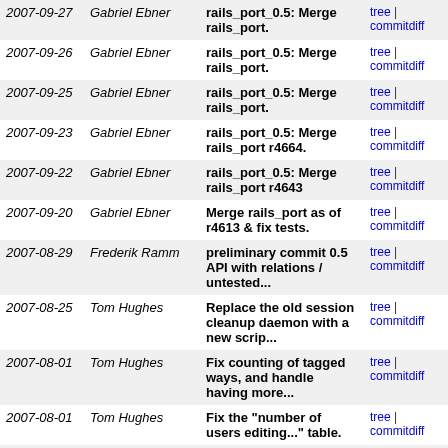| Date | Author | Message | Links |
| --- | --- | --- | --- |
| 2007-09-27 | Gabriel Ebner | rails_port_0.5: Merge rails_port. | tree | commitdiff |
| 2007-09-26 | Gabriel Ebner | rails_port_0.5: Merge rails_port. | tree | commitdiff |
| 2007-09-25 | Gabriel Ebner | rails_port_0.5: Merge rails_port. | tree | commitdiff |
| 2007-09-23 | Gabriel Ebner | rails_port_0.5: Merge rails_port r4664. | tree | commitdiff |
| 2007-09-22 | Gabriel Ebner | rails_port_0.5: Merge rails_port r4643 | tree | commitdiff |
| 2007-09-20 | Gabriel Ebner | Merge rails_port as of r4613 & fix tests. | tree | commitdiff |
| 2007-08-29 | Frederik Ramm | preliminary commit 0.5 API with relations / untested... | tree | commitdiff |
| 2007-08-25 | Tom Hughes | Replace the old session cleanup daemon with a new scrip... | tree | commitdiff |
| 2007-08-01 | Tom Hughes | Fix counting of tagged ways, and handle having more... | tree | commitdiff |
| 2007-08-01 | Tom Hughes | Fix the "number of users editing..." table. | tree | commitdiff |
| 2007-08-01 | Tom Hughes | Some statistics improvements: | tree | commitdiff |
| 2007-08-01 | Tom Hughes | Only count visible objects. | tree | commitdiff |
| 2007-08-01 | Tom Hughes | Add a statistics script to replace the horrid (and... | tree | commitdiff |
| 2007- | Dan Moore | API 0.4 Reverted minor errors in | tree | commitdiff |